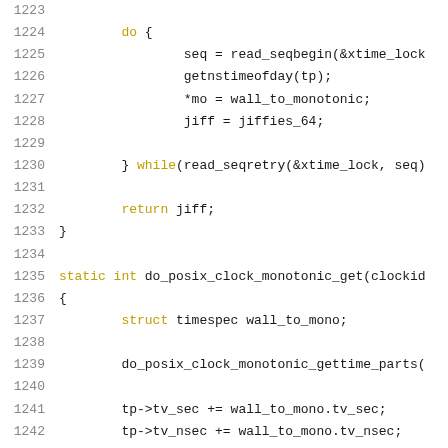Code listing lines 1223-1243 showing C kernel code for POSIX clock monotonic functions
1223
1224    do {
1225        seq = read_seqbegin(&xtime_lock
1226        getnstimeofday(tp);
1227        *mo = wall_to_monotonic;
1228        jiff = jiffies_64;
1229
1230    } while(read_seqretry(&xtime_lock, seq)
1231
1232    return jiff;
1233 }
1234
1235 static int do_posix_clock_monotonic_get(clockid
1236 {
1237    struct timespec wall_to_mono;
1238
1239    do_posix_clock_monotonic_gettime_parts(
1240
1241    tp->tv_sec += wall_to_mono.tv_sec;
1242    tp->tv_nsec += wall_to_mono.tv_nsec;
1243